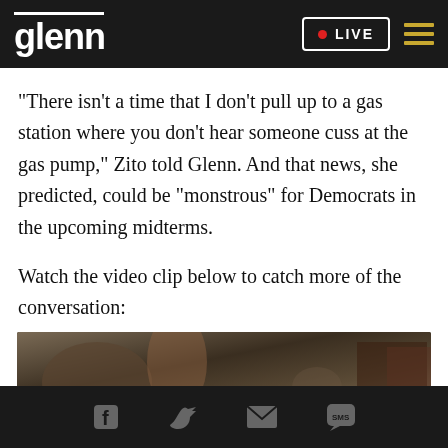glenn  •LIVE
"There isn't a time that I don't pull up to a gas station where you don't hear someone cuss at the gas pump," Zito told Glenn. And that news, she predicted, could be "monstrous" for Democrats in the upcoming midterms.
Watch the video clip below to catch more of the conversation:
[Figure (screenshot): Video thumbnail showing blurred indoor scene with decorative items]
Social share icons: Facebook, Twitter, Email, SMS